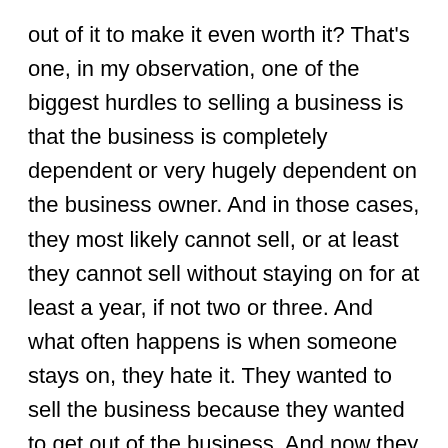out of it to make it even worth it? That's one, in my observation, one of the biggest hurdles to selling a business is that the business is completely dependent or very hugely dependent on the business owner. And in those cases, they most likely cannot sell, or at least they cannot sell without staying on for at least a year, if not two or three. And what often happens is when someone stays on, they hate it. They wanted to sell the business because they wanted to get out of the business. And now they have another owner tells them what to do. A lot of people don't like that. Therefore, what really needs to happen is to transfer somehow this knowledge from the person's head into a system or to some people, but it's better to train people, but train it also into a system, put it into a system. That's what we do with brilliance extraction, but to make the business even transferrable. And and there and to better and here...